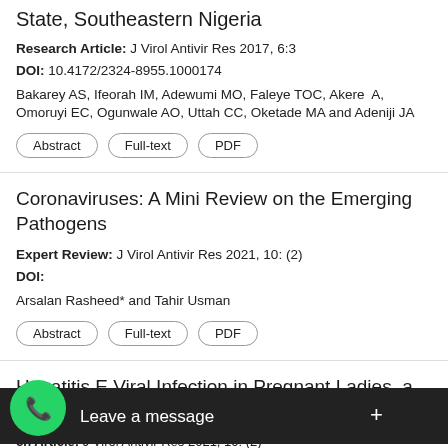State, Southeastern Nigeria
Research Article: J Virol Antivir Res 2017, 6:3
DOI: 10.4172/2324-8955.1000174
Bakarey AS, Ifeorah IM, Adewumi MO, Faleye TOC, Akere A, Omoruyi EC, Ogunwale AO, Uttah CC, Oketade MA and Adeniji JA
Coronaviruses: A Mini Review on the Emerging Pathogens
Expert Review: J Virol Antivir Res 2021, 10: (2)
DOI:
Arsalan Rasheed* and Tahir Usman
Hepatitis E Viral Infection in Pregnant Ladies, a Challenge for Obstetricians and Physicians
Research Article: J Virol Antivir Res 2021, 10: (2)
Sami... [partially obscured] ...ish Ayyez Tuyaba